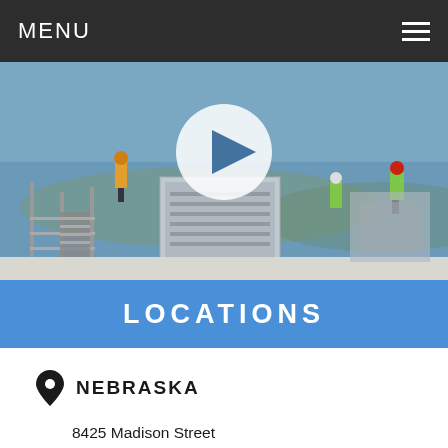MENU
[Figure (screenshot): Video thumbnail showing workers in safety vests and helmets on a rooftop industrial installation with a large HVAC or mechanical unit, with a white play button overlay.]
LOCATIONS
NEBRASKA
8425 Madison Street
P.O. Box 27004
Omaha, NE 68127
Phone: (800) 728-